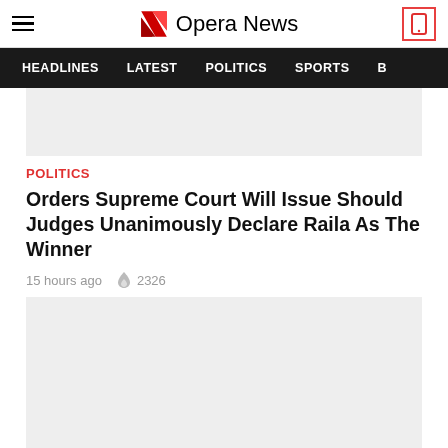Opera News
HEADLINES  LATEST  POLITICS  SPORTS
[Figure (other): Grey ad placeholder rectangle at top]
POLITICS
Orders Supreme Court Will Issue Should Judges Unanimously Declare Raila As The Winner
15 hours ago  2326
[Figure (other): Grey ad placeholder rectangle with red chevron/down-arrow button at bottom center]